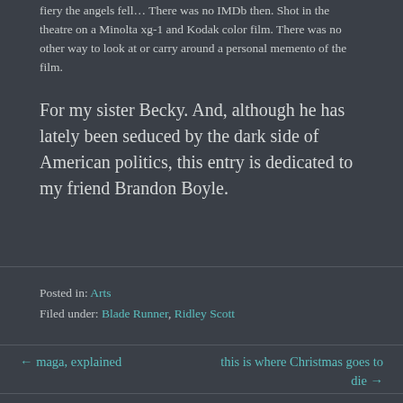fiery the angels fell... There was no IMDb then. Shot in the theatre on a Minolta xg-1 and Kodak color film. There was no other way to look at or carry around a personal memento of the film.
For my sister Becky. And, although he has lately been seduced by the dark side of American politics, this entry is dedicated to my friend Brandon Boyle.
Posted in: Arts
Filed under: Blade Runner, Ridley Scott
← maga, explained
this is where Christmas goes to die →